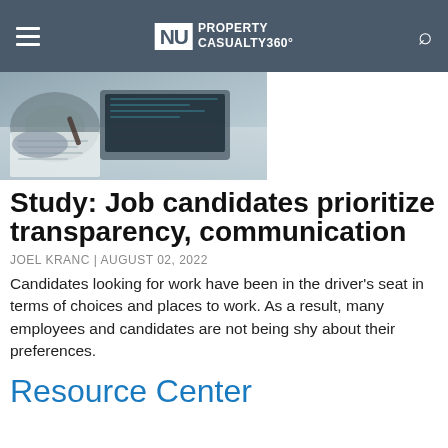NU Property Casualty 360°
[Figure (photo): Person writing on paper with laptop in background, taken from above at an angle]
Study: Job candidates prioritize transparency, communication
JOEL KRANC | AUGUST 02, 2022
Candidates looking for work have been in the driver's seat in terms of choices and places to work. As a result, many employees and candidates are not being shy about their preferences.
Resource Center